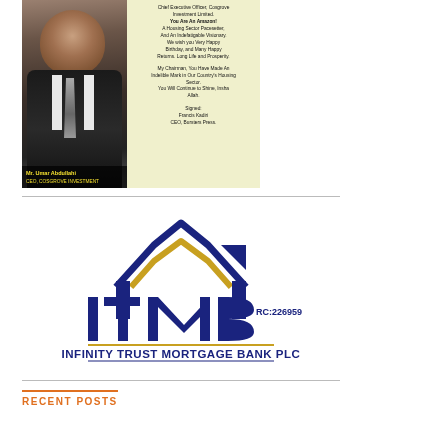[Figure (photo): Advertisement with photo of Mr. Umar Abdullahi (CEO, Cosgrove Investment) on the left side, and birthday congratulatory text on the right side with cream background. Text reads: Chief Executive Officer, Cosgrove Investment Limited. You Are An Amazon! A Housing Sector Pacesetter, And An Indefatigable Visionary. We wish you Very Happy Birthday, and Many Happy Returns. Long Life and Prosperity. My Chairman, You Have Made An Indelible Mark in Our Country's Housing Sector. You Will Continue to Shine, Insha Allah. Signed: Francis Kadiri, CEO, Bursters Press.]
Mr. Umar Abdullahi
CEO, COSGROVE INVESTMENT
[Figure (logo): Infinity Trust Mortgage Bank PLC logo with house/roof icon, ITMB letters, RC:226959, full name INFINITY TRUST MORTGAGE BANK PLC, and tagline '......creating shelter and wealth']
RECENT POSTS